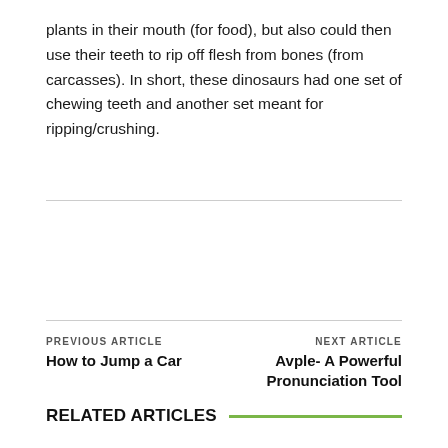plants in their mouth (for food), but also could then use their teeth to rip off flesh from bones (from carcasses). In short, these dinosaurs had one set of chewing teeth and another set meant for ripping/crushing.
PREVIOUS ARTICLE
How to Jump a Car
NEXT ARTICLE
Avple- A Powerful Pronunciation Tool
RELATED ARTICLES